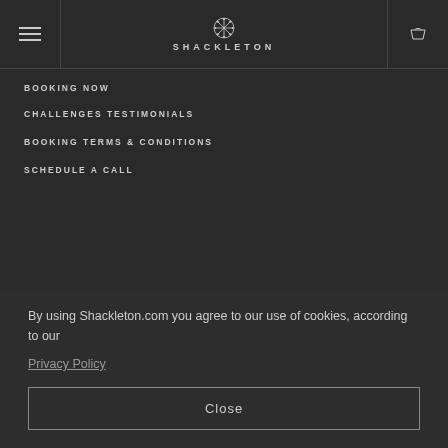SHACKLETON
BOOKING NOW
CHALLENGES TESTIMONIALS
BOOKING TERMS & CONDITIONS
SCHEDULE A CALL
By using Shackleton.com you agree to our use of cookies, according to our
Privacy Policy
Close